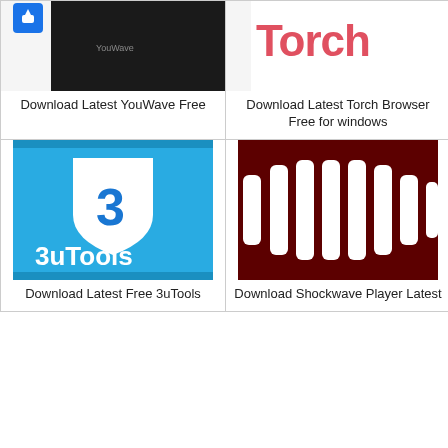[Figure (logo): YouWave app icon - partial view showing small blue shield icon and dark background image]
Download Latest YouWave Free
[Figure (logo): Torch Browser logo - red/pink text 'Torch' on white background with partial icon]
Download Latest Torch Browser Free for windows
[Figure (logo): 3uTools logo - blue background with white shield containing blue number 3, white text '3uTools' at bottom]
Download Latest Free 3uTools
[Figure (logo): Shockwave Player logo - dark maroon/brown background with white vertical bars resembling a barcode or audio waveform]
Download Shockwave Player Latest